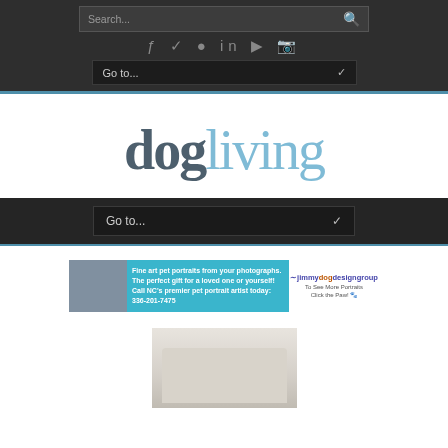[Figure (screenshot): Website navigation bar with search box, social media icons (f, twitter, pinterest, in, youtube, instagram), and Go to... dropdown menu on dark background]
dogliving
[Figure (screenshot): Second dark navigation bar with Go to... dropdown]
[Figure (infographic): Advertisement banner: Fine art pet portraits from your photographs. The perfect gift for a loved one or yourself! Call NC's premier pet portrait artist today: 336-201-7475 — jimmydogdesigngroup — To See More Portraits Click the Paw!]
[Figure (photo): Partial photo of a family (adults and children) sitting on a white sofa]